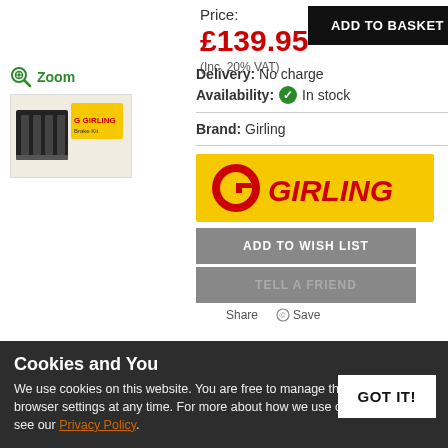Price: £139.95
(Inc. 20% VAT)
ADD TO BASKET
Zoom
[Figure (photo): Product thumbnail showing Girling brake parts with yellow Girling branding]
Delivery: No charge
Availability: In stock
Brand: Girling
[Figure (logo): Girling brand logo - yellow background with red G logo and GIRLING text in red italic bold font]
ADD TO WISH LIST
TELL A FRIEND
Share   Save
Cookies and You
We use cookies on this website. You are free to manage these via your browser settings at any time. For more about how we use cookies, please see our Privacy Policy.
GOT IT!